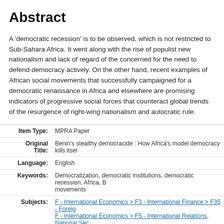Abstract
A 'democratic recession' is to be observed, which is not restricted to Sub-Sahara Africa. It went along with the rise of populist new nationalism and lack of regard of the concerned for the need to defend democracy actively. On the other hand, recent examples of African social movements that successfully campaigned for a democratic renaissance in Africa and elsewhere are promising indicators of progressive social forces that counteract global trends of the resurgence of right-wing nationalism and autocratic rule.
| Field | Value |
| --- | --- |
| Item Type: | MPRA Paper |
| Original Title: | Benin’s stealthy democracide : How Africa's model democracy kills itsel… |
| Language: | English |
| Keywords: | Democratization, democratic institutions, democratic recession, Africa, B… movements |
| Subjects: | F - International Economics > F3 - International Finance > F35 - Foreign…
F - International Economics > F5 - International Relations, National Sec… Political Economy
N - Economic History > N4 - Government, War, Law, International Relat… - Africa ; Oceania
N - Economic History > N9 - Regional and Urban History > N97 - Africa… |